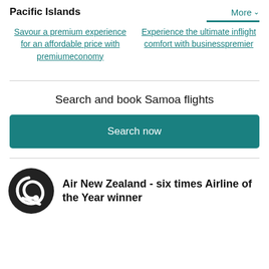Pacific Islands
More
Savour a premium experience for an affordable price with premiumeconomy
Experience the ultimate inflight comfort with businesspremier
Search and book Samoa flights
Search now
[Figure (logo): Air New Zealand circular logo in dark grey/black with stylized koru fern symbol in white]
Air New Zealand - six times Airline of the Year winner